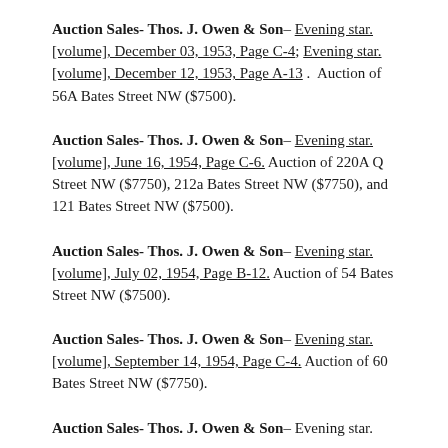Auction Sales- Thos. J. Owen & Son– Evening star. [volume], December 03, 1953, Page C-4; Evening star. [volume], December 12, 1953, Page A-13 .  Auction of 56A Bates Street NW ($7500).
Auction Sales- Thos. J. Owen & Son– Evening star. [volume], June 16, 1954, Page C-6. Auction of 220A Q Street NW ($7750), 212a Bates Street NW ($7750), and 121 Bates Street NW ($7500).
Auction Sales- Thos. J. Owen & Son– Evening star. [volume], July 02, 1954, Page B-12. Auction of 54 Bates Street NW ($7500).
Auction Sales- Thos. J. Owen & Son– Evening star. [volume], September 14, 1954, Page C-4. Auction of 60 Bates Street NW ($7750).
Auction Sales- Thos. J. Owen & Son– Evening star.